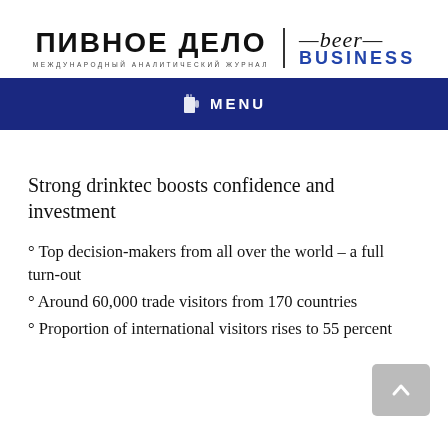[Figure (logo): ПИВНОЕ ДЕЛО | beer BUSINESS magazine logo with Cyrillic text and subtitle МЕЖДУНАРОДНЫЙ АНАЛИТИЧЕСКИЙ ЖУРНАЛ]
MENU
Strong drinktec boosts confidence and investment
° Top decision-makers from all over the world – a full turn-out
° Around 60,000 trade visitors from 170 countries
° Proportion of international visitors rises to 55 percent